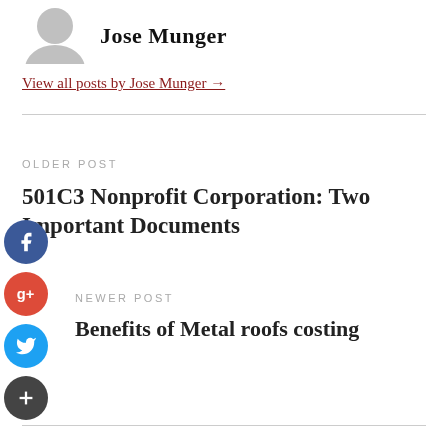[Figure (illustration): Grey avatar/silhouette icon of a person]
Jose Munger
View all posts by Jose Munger →
OLDER POST
501C3 Nonprofit Corporation: Two Important Documents
NEWER POST
Benefits of Metal roofs costing
[Figure (illustration): Social media share buttons: Facebook, Google+, Twitter, and a plus/add button]